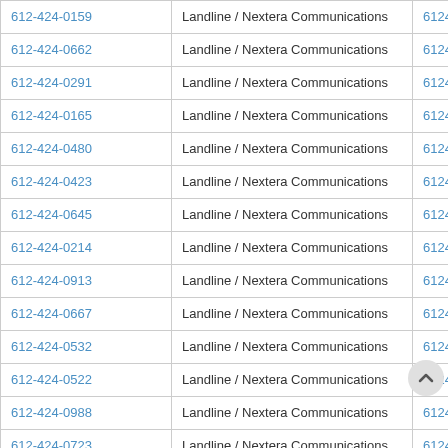| Phone | Type / Carrier | Digits |
| --- | --- | --- |
| 612-424-0159 | Landline / Nextera Communications | 6124240159 |
| 612-424-0662 | Landline / Nextera Communications | 6124240662 |
| 612-424-0291 | Landline / Nextera Communications | 6124240291 |
| 612-424-0165 | Landline / Nextera Communications | 6124240165 |
| 612-424-0480 | Landline / Nextera Communications | 6124240480 |
| 612-424-0423 | Landline / Nextera Communications | 6124240423 |
| 612-424-0645 | Landline / Nextera Communications | 6124240645 |
| 612-424-0214 | Landline / Nextera Communications | 6124240214 |
| 612-424-0913 | Landline / Nextera Communications | 6124240913 |
| 612-424-0667 | Landline / Nextera Communications | 6124240667 |
| 612-424-0532 | Landline / Nextera Communications | 6124240532 |
| 612-424-0522 | Landline / Nextera Communications | 6124240522 |
| 612-424-0988 | Landline / Nextera Communications | 6124240988 |
| 612-424-0723 | Landline / Nextera Communications | 6124240723 |
| 612-424-0964 | Landline / Nextera Communications | 6124240… |
| 612-424-0180 | Landline / Nextera Communications | 6124240… |
| 612-424-0973 | Landline / Nextera Communications | 6124240973 |
| 612-424-0425 | Landline / Nextera Communications | 6124240425 |